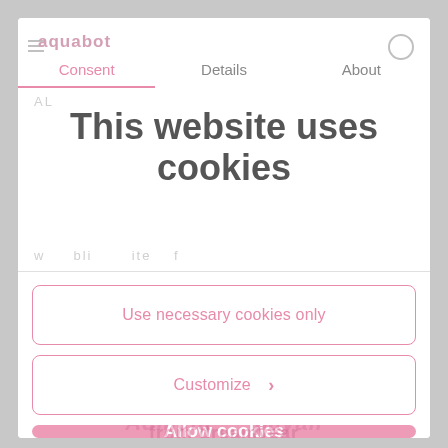[Figure (screenshot): Cookie consent modal from aquabot website with navigation tabs (Consent, Details, About), large title 'This website uses cookies', and three buttons: 'Use necessary cookies only', 'Customize >', and 'Allow cookies']
This website uses cookies
Use necessary cookies only
Customize >
Allow cookies